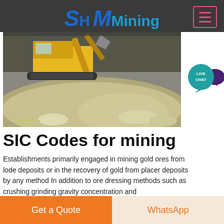SH MMining
[Figure (photo): Mining excavator on a large pile of crushed rock/ore at a mining site]
[Figure (infographic): Live Chat speech bubble icon in teal/dark purple]
SIC Codes for mining
Establishments primarily engaged in mining gold ores from lode deposits or in the recovery of gold from placer deposits by any method In addition to ore dressing methods such as crushing grinding gravity concentration and
Click to chat
[Figure (photo): Partial view of a second mining-related photo at the bottom]
Get a Quote   WhatsApp